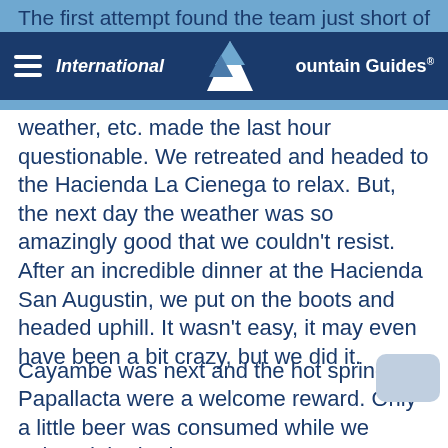International Mountain Guides®
The first attempt found the team just short of the summit. Snow avalanche conditions, weather, etc. made the last hour questionable. We retreated and headed to the Hacienda La Cienega to relax. But, the next day the weather was so amazingly good that we couldn't resist. After an incredible dinner at the Hacienda San Augustin, we put on the boots and headed uphill. It wasn't easy, it may even have been a bit crazy, but we did it.
Cayambe was next and the hot springs of Papallacta were a welcome reward. Only a little beer was consumed while we enjoyed the baths.